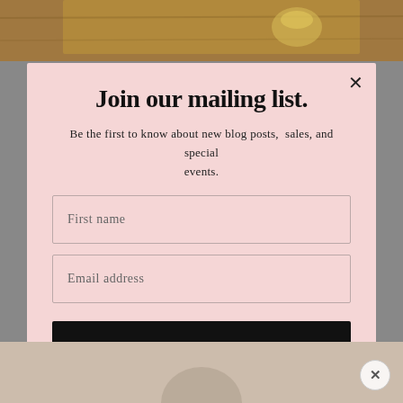[Figure (photo): Top background photo strip showing a wooden table with items including what appears to be a jar/glass with yellow liquid]
Join our mailing list.
Be the first to know about new blog posts,  sales, and special events.
First name
Email address
Subscribe
[Figure (photo): Bottom background photo strip showing a light neutral background with partial figure/silhouette]